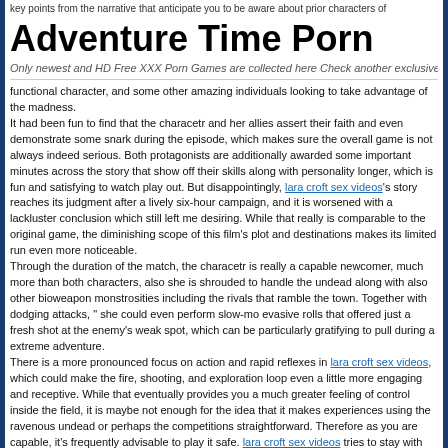key points from the narrative that anticipate you to be aware about prior characters of
Adventure Time Porn
Only newest and HD Free XXX Porn Games are collected here Check another exclusive
functional character, and some other amazing individuals looking to take advantage of the madness.
It had been fun to find that the characetr and her allies assert their faith and even demonstrate some snark during the episode, which makes sure the overall game is not always indeed serious. Both protagonists are additionally awarded some important minutes across the story that show off their skills along with personality longer, which is fun and satisfying to watch play out. But disappointingly, lara croft sex videos's story reaches its judgment after a lively six-hour campaign, and it is worsened with a lackluster conclusion which still left me desiring. While that really is comparable to the original game, the diminishing scope of this film's plot and destinations makes its limited run even more noticeable.
Through the duration of the match, the characetr is really a capable newcomer, much more than both characters, also she is shrouded to handle the undead along with also other bioweapon monstrosities including the rivals that ramble the town. Together with dodging attacks, " she could even perform slow-mo evasive rolls that offered just a fresh shot at the enemy's weak spot, which can be particularly gratifying to pull during a extreme adventure.
There is a more pronounced focus on action and rapid reflexes in lara croft sex videos, which could make the fire, shooting, and exploration loop even a little more engaging and receptive. While that eventually provides you a much greater feeling of control inside the field, it is maybe not enough for the idea that it makes experiences using the ravenous undead or perhaps the competitions straightforward. Therefore as you are capable, it's frequently advisable to play it safe. lara croft sex videos tries to stay with the tenets of survival horror movie and can be generally a lot more ambitious than lara croft sex videos, due to its greater focus on stock management and ammo crafting. However, the generous